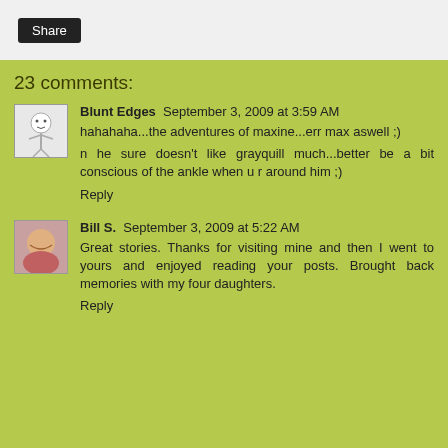Share
23 comments:
Blunt Edges  September 3, 2009 at 3:59 AM
hahahaha...the adventures of maxine...err max aswell ;)
n he sure doesn't like grayquill much...better be a bit conscious of the ankle when u r around him ;)
Reply
Bill S.  September 3, 2009 at 5:22 AM
Great stories. Thanks for visiting mine and then I went to yours and enjoyed reading your posts. Brought back memories with my four daughters.
Reply